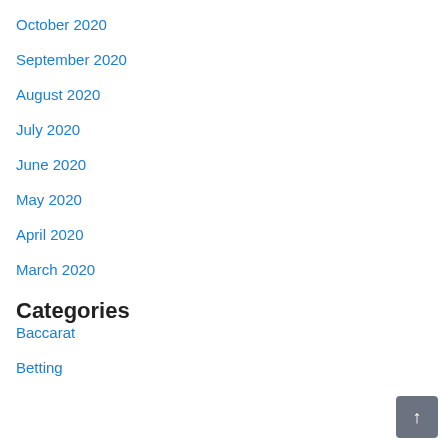October 2020
September 2020
August 2020
July 2020
June 2020
May 2020
April 2020
March 2020
Categories
Baccarat
Betting